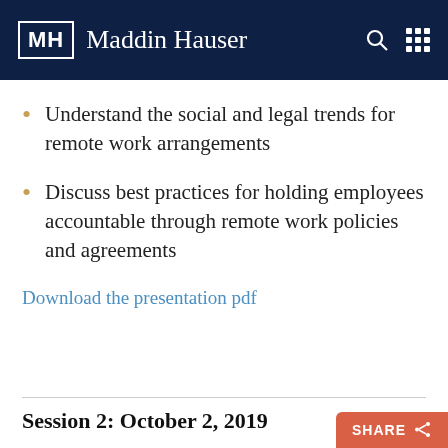MH Maddin Hauser
Understand the social and legal trends for remote work arrangements
Discuss best practices for holding employees accountable through remote work policies and agreements
Download the presentation pdf
Session 2: October 2, 2019